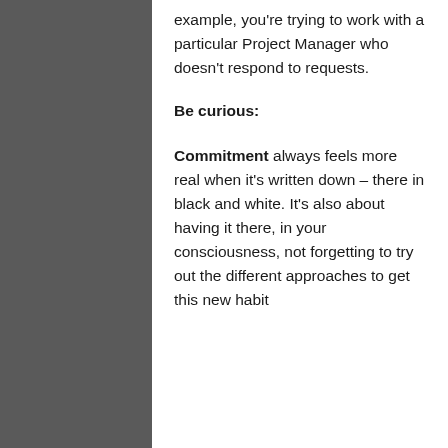example, you're trying to work with a particular Project Manager who doesn't respond to requests.
Be curious:
Commitment always feels more real when it's written down – there in black and white. It's also about having it there, in your consciousness, not forgetting to try out the different approaches to get this new habit